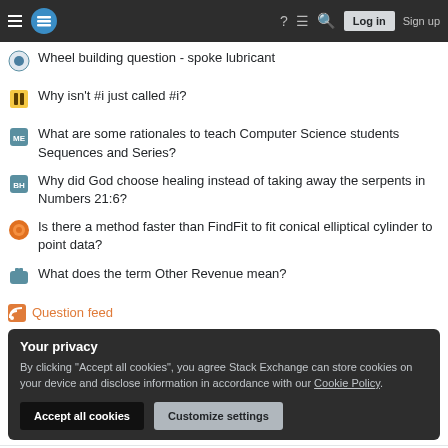Stack Exchange navigation header with Log in and Sign up buttons
Wheel building question - spoke lubricant
Why isn't #i just called #i?
What are some rationales to teach Computer Science students Sequences and Series?
Why did God choose healing instead of taking away the serpents in Numbers 21:6?
Is there a method faster than FindFit to fit conical elliptical cylinder to point data?
What does the term Other Revenue mean?
Question feed
Your privacy
By clicking "Accept all cookies", you agree Stack Exchange can store cookies on your device and disclose information in accordance with our Cookie Policy.
Legal   Privacy Policy   Terms of Service   Cookie Settings   Cookie Policy